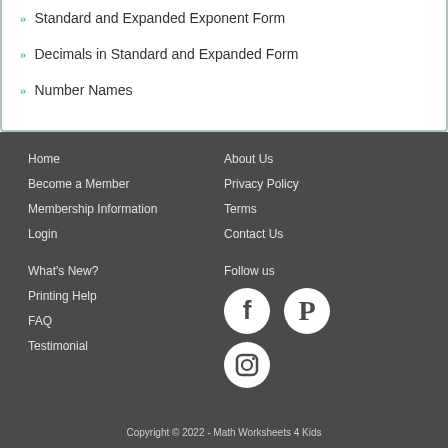» Standard and Expanded Exponent Form
» Decimals in Standard and Expanded Form
» Number Names
Home
Become a Member
Membership Information
Login
What's New?
Printing Help
FAQ
Testimonial
About Us
Privacy Policy
Terms
Contact Us
Follow us
Copyright © 2022 - Math Worksheets 4 Kids